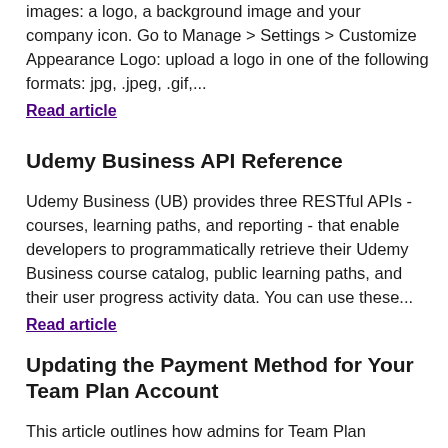images: a logo, a background image and your company icon. Go to Manage > Settings > Customize Appearance Logo: upload a logo in one of the following formats: jpg, .jpeg, .gif,...
Read article
Udemy Business API Reference
Udemy Business (UB) provides three RESTful APIs - courses, learning paths, and reporting - that enable developers to programmatically retrieve their Udemy Business course catalog, public learning paths, and their user progress activity data. You can use these...
Read article
Updating the Payment Method for Your Team Plan Account
This article outlines how admins for Team Plan